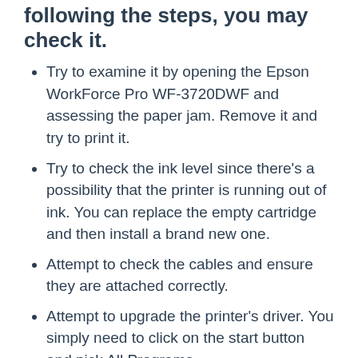following the steps, you may check it.
Try to examine it by opening the Epson WorkForce Pro WF-3720DWF and assessing the paper jam. Remove it and try to print it.
Try to check the ink level since there's a possibility that the printer is running out of ink. You can replace the empty cartridge and then install a brand new one.
Attempt to check the cables and ensure they are attached correctly.
Attempt to upgrade the printer's driver. You simply need to click on the start button and pick All Programs.
It may be reasoned that the issues are appeared due to the ink or the system. It is essential that you test it first. Epson WorkForce Pro WF-3720DWF is an excellent printer that helps you to print documents and photos beautifully. You don't need to be concerned if you are